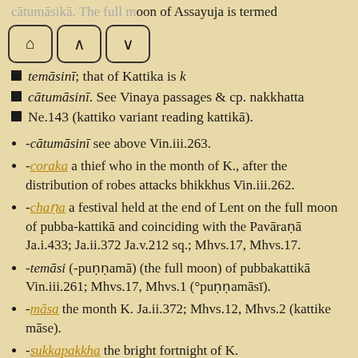cātumāsikā. The full moon of Assayuja is termed
[Figure (other): Navigation bar with home, up arrow, and down arrow buttons]
temāsinī; that of Kattika is k
cātumāsinī. See Vinaya passages & cp. nakkhatta
Ne.143 (kattiko variant reading kattikā).
-cātumāsinī see above Vin.iii.263.
-coraka a thief who in the month of K., after the distribution of robes attacks bhikkhus Vin.iii.262.
-chaṇa a festival held at the end of Lent on the full moon of pubba-kattikā and coinciding with the Pavāraṇā Ja.i.433; Ja.ii.372 Ja.v.212 sq.; Mhvs.17, Mhvs.17.
-temāsi (-puṇṇamā) (the full moon) of pubbakattikā Vin.iii.261; Mhvs.17, Mhvs.1 (°puṇṇamāsī).
-māsa the month K. Ja.ii.372; Mhvs.12, Mhvs.2 (kattike māse).
-sukkapakkha the bright fortnight of K.